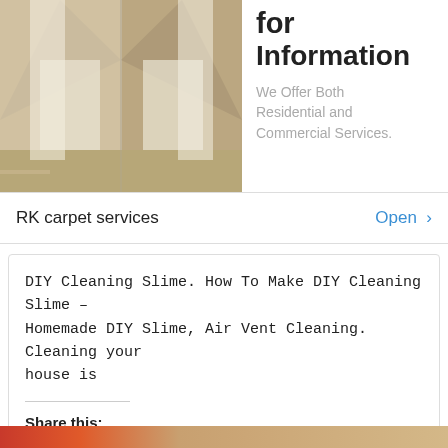[Figure (photo): Photo of curtained/draped interior space with light fabric and tiled/carpeted floor]
for Information
We Offer Both Residential and Commercial Services.
RK carpet services
Open >
DIY Cleaning Slime. How To Make DIY Cleaning Slime – Homemade DIY Slime, Air Vent Cleaning. Cleaning your house is
Share this:
Tweet
Read more